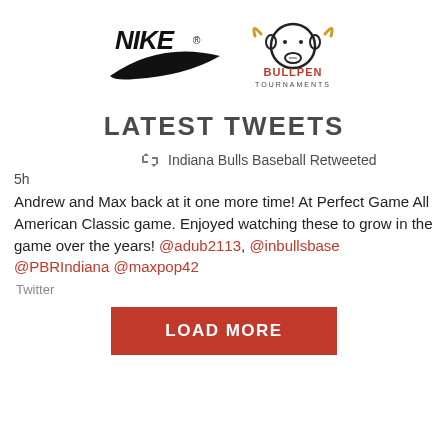[Figure (logo): Nike swoosh logo (black) and Bullpen Tournaments logo (bull head with text) side by side]
LATEST TWEETS
Indiana Bulls Baseball Retweeted
5h
Andrew and Max back at it one more time! At Perfect Game All American Classic game. Enjoyed watching these to grow in the game over the years! @adub2113, @inbullsbase @PBRIndiana @maxpop42
Twitter
LOAD MORE